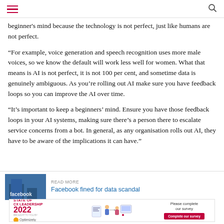beginner's mind because the technology is not perfect, just like humans are not perfect.
“For example, voice generation and speech recognition uses more male voices, so we know the default will work less well for women. What that means is AI is not perfect, it is not 100 per cent, and sometime data is genuinely ambiguous. As you’re rolling out AI make sure you have feedback loops so you can improve the AI over time.
“It’s important to keep a beginners’ mind. Ensure you have those feedback loops in your AI systems, making sure there’s a person there to escalate service concerns from a bot. In general, as any organisation rolls out AI, they have to be aware of the implications it can have.”
READ MORE
Facebook fined for data scandal
[Figure (infographic): Advertisement banner: STATE OF CX LEADERSHIP 2022, brought to you by Optimizely, with illustrated figures, survey completion prompt and red Complete our survey button]